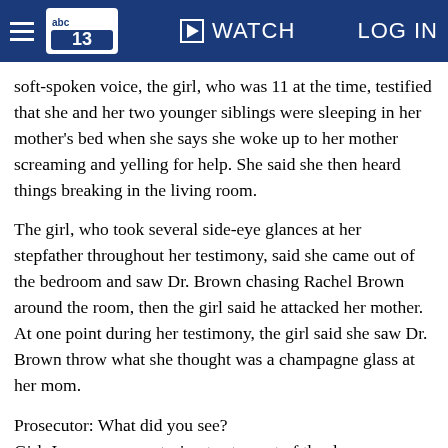abc13 | WATCH | LOG IN
soft-spoken voice, the girl, who was 11 at the time, testified that she and her two younger siblings were sleeping in her mother's bed when she says she woke up to her mother screaming and yelling for help. She said she then heard things breaking in the living room.
The girl, who took several side-eye glances at her stepfather throughout her testimony, said she came out of the bedroom and saw Dr. Brown chasing Rachel Brown around the room, then the girl said he attacked her mother. At one point during her testimony, the girl said she saw Dr. Brown throw what she thought was a champagne glass at her mom.
Prosecutor: What did you see?
Girl: I saw my mom trying to step out of the door.
Prosecutor: And what door are we talking about?